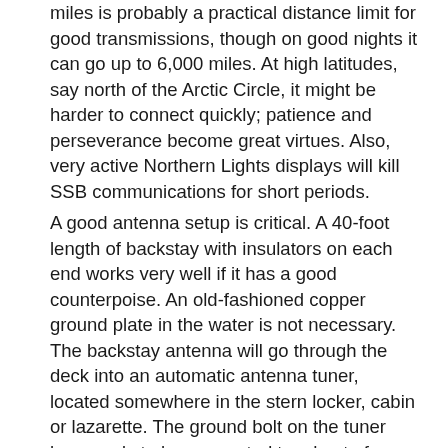miles is probably a practical distance limit for good transmissions, though on good nights it can go up to 6,000 miles. At high latitudes, say north of the Arctic Circle, it might be harder to connect quickly; patience and perseverance become great virtues. Also, very active Northern Lights displays will kill SSB communications for short periods.
A good antenna setup is critical. A 40-foot length of backstay with insulators on each end works very well if it has a good counterpoise. An old-fashioned copper ground plate in the water is not necessary. The backstay antenna will go through the deck into an automatic antenna tuner, located somewhere in the stern locker, cabin or lazarette. The ground bolt on the tuner box needs to be connected to a host of metal objects, for example, by several wires attached to the below-deck backing plates of the pushpit legs. Our boat has six of these, and